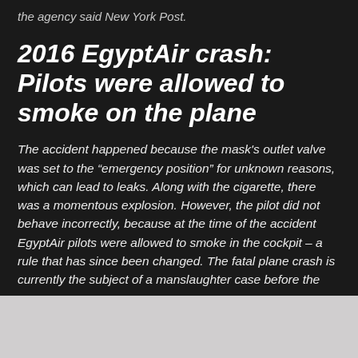the agency said New York Post.
2016 EgyptAir crash: Pilots were allowed to smoke on the plane
The accident happened because the mask's outlet valve was set to the “emergency position” for unknown reasons, which can lead to leaks. Along with the cigarette, there was a momentous explosion. However, the pilot did not behave incorrectly, because at the time of the accident EgyptAir pilots were allowed to smoke in the cockpit – a rule that has since been changed. The fatal plane crash is currently the subject of a manslaughter case before the